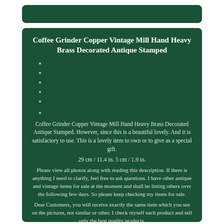Coffee Grinder Copper Vintage Mill Hand Heavy Brass Decorated Antique Stamped
Coffee Grinder Copper Vintage Mill Hand Heavy Brass Decorated Antique Stamped. However, since this is a beautiful lovely. And it is satisfactory to use. This is a lovely item to own or to give as a special gift.
29 cm / 11.4 in. 5 cm / 1.9 in.
Please view all photos along with reading this description. If there is anything I need to clarify, feel free to ask questions. I have other antique and vintage items for sale at the moment and shall be listing others over the following few days. So please keep checking my items for sale.
Dear Customers, you will receive exactly the same item which you see on the pictures, not similar or other. I check myself each product and sell only the best quality products.
If you are not satisfied with the product, first, please contact me and. I will